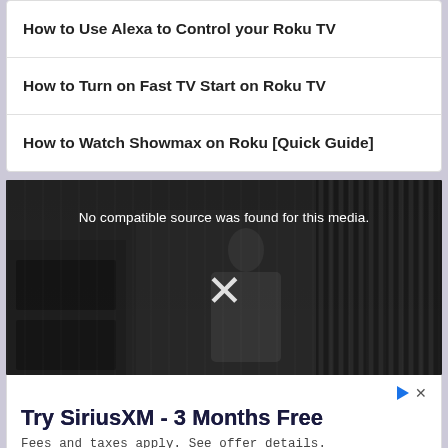How to Use Alexa to Control your Roku TV
How to Turn on Fast TV Start on Roku TV
How to Watch Showmax on Roku [Quick Guide]
[Figure (screenshot): Video player showing 'No compatible source was found for this media.' message with a large X close button over a dark kitchen scene background.]
[Figure (infographic): Advertisement for SiriusXM - Try SiriusXM - 3 Months Free. Fees and taxes apply. See offer details. Subscribe button.]